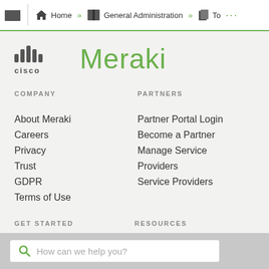Home » General Administration » To ...
[Figure (logo): Cisco Meraki logo with Cisco icon and green Meraki wordmark]
COMPANY
PARTNERS
About Meraki
Partner Portal Login
Careers
Become a Partner
Privacy
Manage Service Providers
Trust
Service Providers
GDPR
Terms of Use
GET STARTED
RESOURCES
How can we help you?